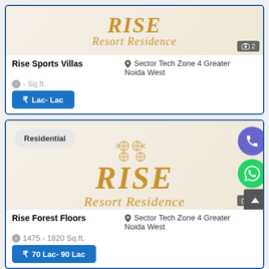[Figure (logo): Rise Resort Residence logo with golden text on light background, showing RISE in large italic and Resort Residence below]
Rise Sports Villas
Sector Tech Zone 4 Greater Noida West
- Sq.ft.
Lac- Lac
[Figure (logo): Rise Resort Residence logo with Residential badge, ornamental golden symbols, RISE in large italic gold text and Resort Residence below]
Residential
Rise Forest Floors
Sector Tech Zone 4 Greater Noida West
1475 - 1820 Sq.ft.
70 Lac- 90 Lac